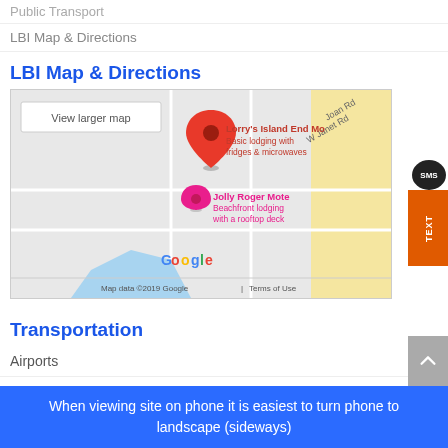Public Transport
LBI Map & Directions
LBI Map & Directions
[Figure (map): Google Map showing Lorry's Island End Mo with red pin marker, Jolly Roger Mote with pink pin marker, streets including Joan Rd and W Janet Rd. Shows 'View larger map' button. Map data ©2019 Google | Terms of Use]
Transportation
Airports
Bus Transport
Public Transport
When viewing site on phone it is easiest to turn phone to landscape (sideways)